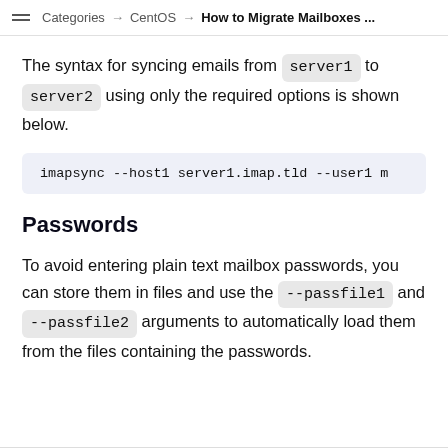Categories → CentOS → How to Migrate Mailboxes ...
The syntax for syncing emails from server1 to server2 using only the required options is shown below.
imapsync --host1 server1.imap.tld --user1 m
Passwords
To avoid entering plain text mailbox passwords, you can store them in files and use the --passfile1 and --passfile2 arguments to automatically load them from the files containing the passwords.